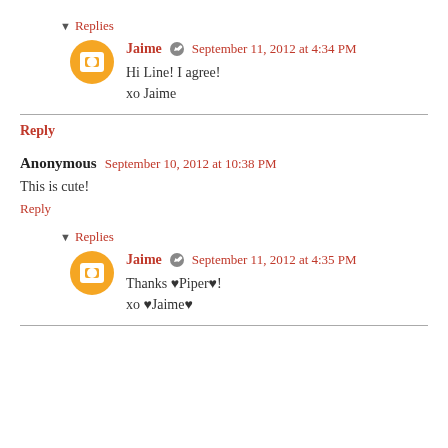▼ Replies
Jaime ✎ September 11, 2012 at 4:34 PM
Hi Line! I agree!
xo Jaime
Reply
Anonymous September 10, 2012 at 10:38 PM
This is cute!
Reply
▼ Replies
Jaime ✎ September 11, 2012 at 4:35 PM
Thanks ♥Piper♥!
xo ♥Jaime♥